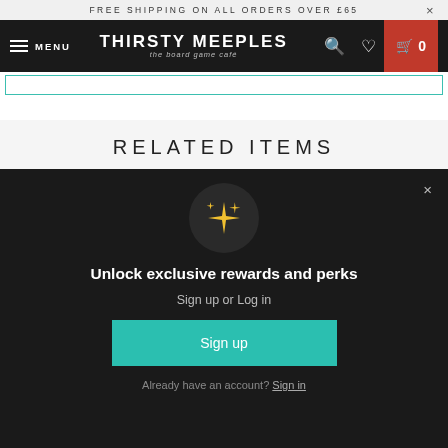FREE SHIPPING ON ALL ORDERS OVER £65
[Figure (screenshot): Thirsty Meeples navigation bar with menu, logo, search, wishlist, and cart icons]
RELATED ITEMS
[Figure (screenshot): Modal popup with sparkle icon: Unlock exclusive rewards and perks. Sign up or Log in. Sign up button. Already have an account? Sign in.]
THE LORD OF THE RINGS:
THE LORD OF THE RINGS: